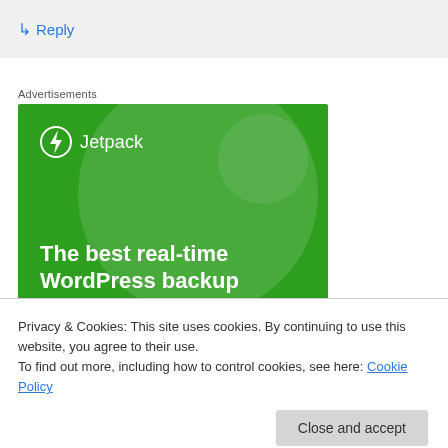↳ Reply
Advertisements
[Figure (illustration): Jetpack advertisement banner: green background with decorative translucent circles, Jetpack logo (lightning bolt icon) top-left, bold white text reading 'The best real-time WordPress backup plugin']
Privacy & Cookies: This site uses cookies. By continuing to use this website, you agree to their use.
To find out more, including how to control cookies, see here: Cookie Policy
Close and accept
They aren't fluent English speakers, heck, they